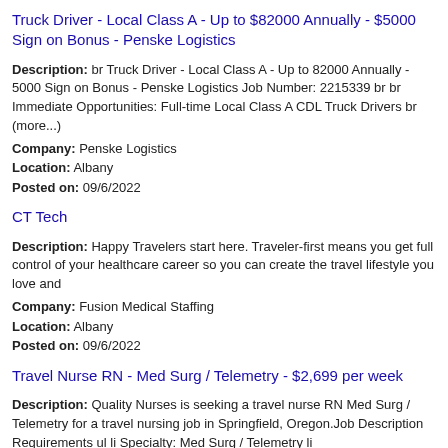Truck Driver - Local Class A - Up to $82000 Annually - $5000 Sign on Bonus - Penske Logistics
Description: br Truck Driver - Local Class A - Up to 82000 Annually - 5000 Sign on Bonus - Penske Logistics Job Number: 2215339 br br Immediate Opportunities: Full-time Local Class A CDL Truck Drivers br (more...)
Company: Penske Logistics
Location: Albany
Posted on: 09/6/2022
CT Tech
Description: Happy Travelers start here. Traveler-first means you get full control of your healthcare career so you can create the travel lifestyle you love and
Company: Fusion Medical Staffing
Location: Albany
Posted on: 09/6/2022
Travel Nurse RN - Med Surg / Telemetry - $2,699 per week
Description: Quality Nurses is seeking a travel nurse RN Med Surg / Telemetry for a travel nursing job in Springfield, Oregon.Job Description Requirements ul li Specialty: Med Surg / Telemetry li